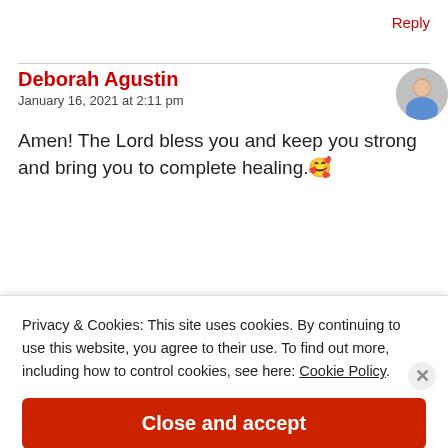Reply
Deborah Agustin
January 16, 2021 at 2:11 pm
Amen! The Lord bless you and keep you strong and bring you to complete healing.🥰
Privacy & Cookies: This site uses cookies. By continuing to use this website, you agree to their use. To find out more, including how to control cookies, see here: Cookie Policy
Close and accept